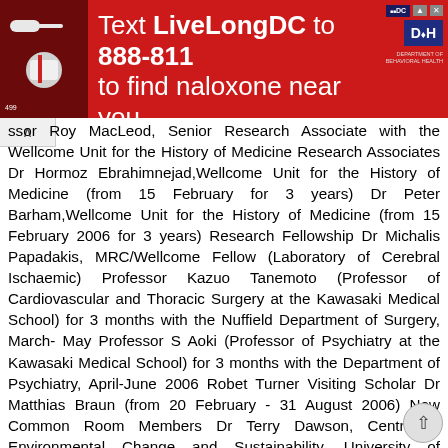[Figure (infographic): Red advertisement banner: 'Text LiveLongDC to 888-811 to find naloxone near you.' with DC and DBH logos and a photo of naloxone kit on the left.]
ssor Roy MacLeod, Senior Research Associate with the Wellcome Unit for the History of Medicine Research Associates Dr Hormoz Ebrahimnejad,Wellcome Unit for the History of Medicine (from 15 February for 3 years) Dr Peter Barham,Wellcome Unit for the History of Medicine (from 15 February 2006 for 3 years) Research Fellowship Dr Michalis Papadakis, MRC/Wellcome Fellow (Laboratory of Cerebral Ischaemic) Professor Kazuo Tanemoto (Professor of Cardiovascular and Thoracic Surgery at the Kawasaki Medical School) for 3 months with the Nuffield Department of Surgery, March- May Professor S Aoki (Professor of Psychiatry at the Kawasaki Medical School) for 3 months with the Department of Psychiatry, April-June 2006 Robet Turner Visiting Scholar Dr Matthias Braun (from 20 February - 31 August 2006) New Common Room Members Dr Terry Dawson, Centre of Environmental Change and Sustainability, University of Edinburgh and Ex Research Fellow of Green College Dr Chris O Callaghan,The Henry Wellcome Building of Molecular Physiology Dr George Pollock, Department of Public Health &